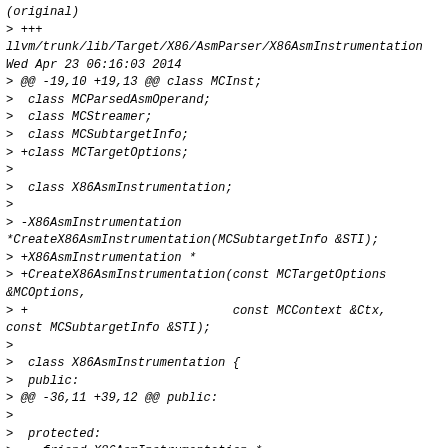(original)
> +++
llvm/trunk/lib/Target/X86/AsmParser/X86AsmInstrumentation
Wed Apr 23 06:16:03 2014
> @@ -19,10 +19,13 @@ class MCInst;
>  class MCParsedAsmOperand;
>  class MCStreamer;
>  class MCSubtargetInfo;
> +class MCTargetOptions;
>
>  class X86AsmInstrumentation;
>
> -X86AsmInstrumentation
*CreateX86AsmInstrumentation(MCSubtargetInfo &STI);
> +X86AsmInstrumentation *
> +CreateX86AsmInstrumentation(const MCTargetOptions &MCOptions,
> +                            const MCContext &Ctx,
const MCSubtargetInfo &STI);
>
>  class X86AsmInstrumentation {
>  public:
> @@ -36,11 +39,12 @@ public:
>
>  protected:
>    friend X86AsmInstrumentation *
> -  CreateX86AsmInstrumentation(MCSubtargetInfo &STI);
> +  CreateX86AsmInstrumentation(const MCTargetOptions &MCOptions,
> +                              const MCContext &Ctx,